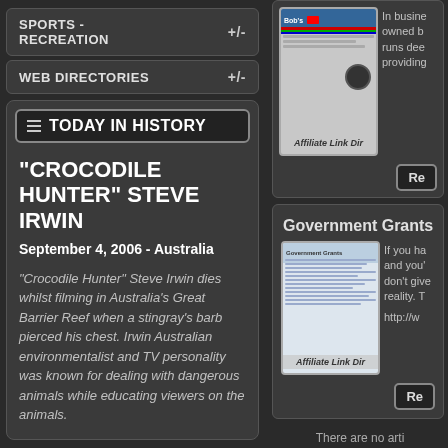SPORTS - RECREATION +/-
WEB DIRECTORIES +/-
TODAY IN HISTORY
"CROCODILE HUNTER" STEVE IRWIN
September 4, 2006 - Australia
"Crocodile Hunter" Steve Irwin dies whilst filming in Australia's Great Barrier Reef when a stingray's barb pierced his chest. Irwin Australian environmentalist and TV personality was known for dealing with dangerous animals while educating viewers on the animals.
[Figure (screenshot): Bob's Flags website thumbnail with Affiliate Link Dir watermark]
In busine owned b runs dee providing
Re
Government Grants
[Figure (screenshot): Government Grants website thumbnail with Affiliate Link Dir watermark]
If you ha and you' don't give reality. T
http://w
Re
There are no arti